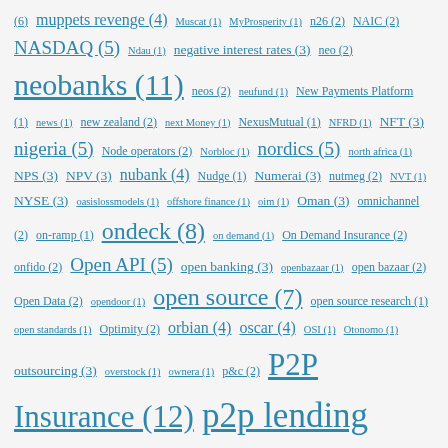(6) muppets revenge (4) Muscat (1) MyProsperity (1) n26 (2) NAIC (2) NASDAQ (5) Ndau (1) negative interest rates (3) neo (2) neobanks (11) neos (2) neufund (1) New Payments Platform (1) news (1) new zealand (2) next Money (1) NexusMutual (1) NFRD (1) NFT (3) nigeria (5) Node operators (2) Norbloc (1) nordics (5) north africa (1) NPS (3) NPV (3) nubank (4) Nudge (1) Numerai (3) nutmeg (2) NVT (1) NYSE (3) oasislossmodels (1) offshore finance (1) oim (1) Oman (3) omnichannel (2) on-ramp (1) ondeck (8) on demand (1) On Demand Insurance (2) onfido (2) Open API (5) open banking (3) openbazaar (1) open bazaar (2) Open Data (2) opendoor (1) open source (7) open source research (1) open standards (1) Optimity (2) orbian (4) oscar (4) OSI (1) Otonomo (1) outsourcing (3) overstock (1) ownera (1) p&c (2) P2P Insurance (12) p2p lending (14) pandemic (10) parametric (15) parametricinsurance (13) parametrics (1) paris (1) Paris climate accord (1) participatory budgeting (1) particl (1) partnerships (10) passive index trackers (1) patents (2) patent trolls (1) pat kelahan (1) paul copley (1) pay day lending (1)